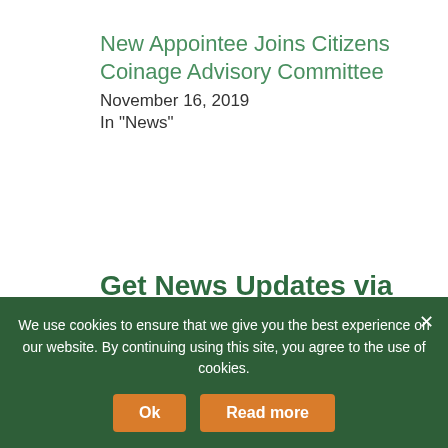New Appointee Joins Citizens Coinage Advisory Committee
November 16, 2019
In "News"
Get News Updates via Email
Join 10,882 other subscribers
Email Address
We use cookies to ensure that we give you the best experience on our website. By continuing using this site, you agree to the use of cookies.
Ok
Read more